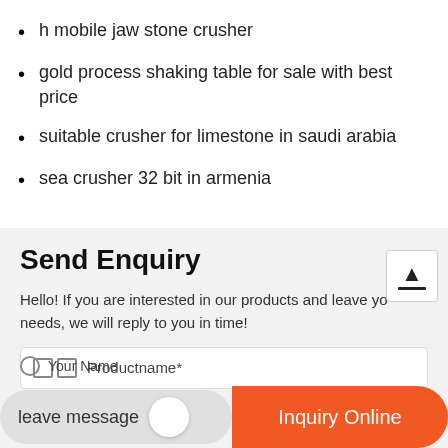h mobile jaw stone crusher
gold process shaking table for sale with best price
suitable crusher for limestone in saudi arabia
sea crusher 32 bit in armenia
Send Enquiry
Hello! If you are interested in our products and leave your needs, we will reply to you in time!
Productname*
Your Name
leave message
Inquiry Online